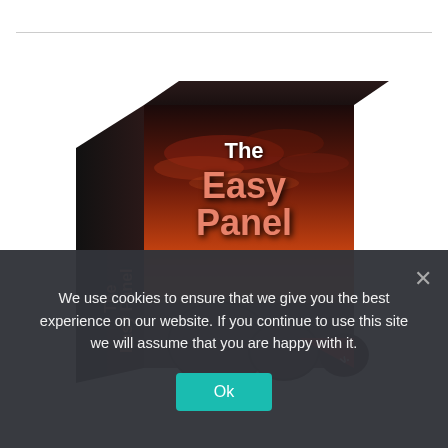[Figure (illustration): 3D software product box titled 'The Easy Panel' with a dramatic sunset beach landscape background featuring large boulders. The box has dark sides with orange angled text reading 'The Easy Panel' and a red corner badge.]
We use cookies to ensure that we give you the best experience on our website. If you continue to use this site we will assume that you are happy with it.